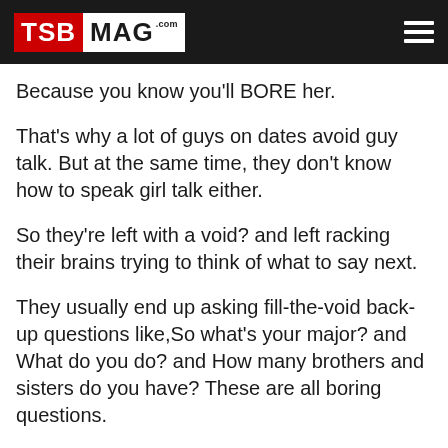TSB MAG .com
Because you know you'll BORE her.
That's why a lot of guys on dates avoid guy talk. But at the same time, they don't know how to speak girl talk either.
So they're left with a void? and left racking their brains trying to think of what to say next.
They usually end up asking fill-the-void back-up questions like,So what's your major? and What do you do? and How many brothers and sisters do you have? These are all boring questions.
I almost completely avoid cliche questions like, So